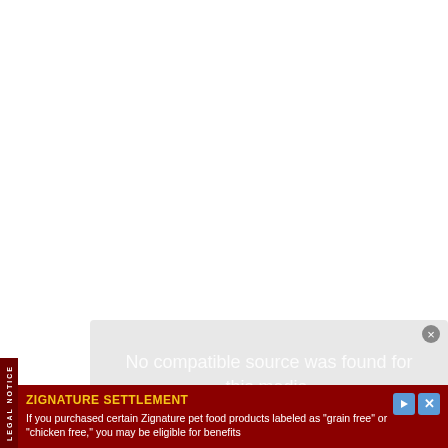[Figure (screenshot): Video player overlay showing 'No compatible source was found for this media.' error message on a light gray background with a close button.]
LEGAL NOTICE
ZIGNATURE SETTLEMENT
If you purchased certain Zignature pet food products labeled as "grain free" or "chicken free," you may be eligible for benefits